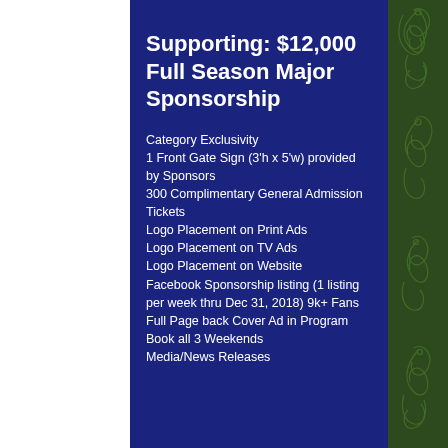Supporting: $12,000 Full Season Major Sponsorship
Category Exclusivity
1 Front Gate Sign (3'h x 5'w) provided by Sponsors
300 Complimentary General Admission Tickets
Logo Placement on Print Ads
Logo Placement on TV Ads
Logo Placement on Website
Facebook Sponsorship listing (1 listing per week thru Dec 31, 2018) 9k+ Fans
Full Page back Cover Ad in Program Book all 3 Weekends
Media/News Releases